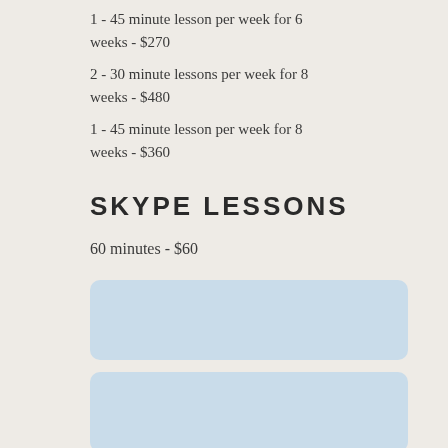1 - 45 minute lesson per week for 6 weeks - $270
2 - 30 minute lessons per week for 8 weeks - $480
1 - 45 minute lesson per week for 8 weeks - $360
SKYPE LESSONS
60 minutes  - $60
[Figure (other): Three light blue rounded rectangle boxes stacked vertically, appearing to be input or button UI elements]
[Figure (other): Second light blue rounded rectangle box]
[Figure (other): Third light blue rounded rectangle box]